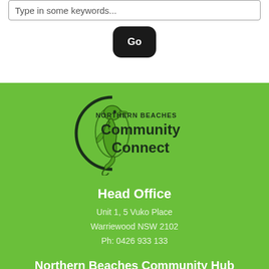Type in some keywords...
Go
[Figure (logo): Northern Beaches Community Connect logo with seahorse in circular design]
Head Office
Unit 1, 5 Vuko Place
Warriewood NSW 2102
Ph: 0426 933 133
Northern Beaches Community Hub
28 Fisher Road (at rear of New Life Church)